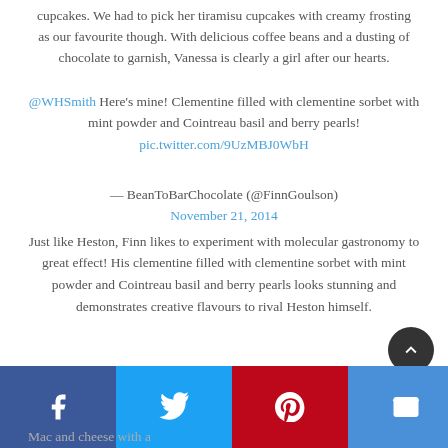cupcakes. We had to pick her tiramisu cupcakes with creamy frosting as our favourite though. With delicious coffee beans and a dusting of chocolate to garnish, Vanessa is clearly a girl after our hearts.
@WHSmith Here’s mine! Clementine filled with clementine sorbet with mint powder and Cointreau basil and berry pearls! pic.twitter.com/9UzMBJ0WbH
— BeanToBarChocolate (@FinnGoulson) November 21, 2014
Just like Heston, Finn likes to experiment with molecular gastronomy to great effect! His clementine filled with clementine sorbet with mint powder and Cointreau basil and berry pearls looks stunning and demonstrates creative flavours to rival Heston himself.
[Figure (other): Social media sharing bar with Facebook, Twitter, Pinterest, Email, and More icons]